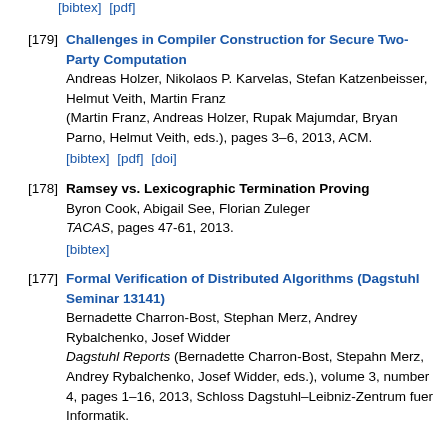[bibtex] [pdf]
[179] Challenges in Compiler Construction for Secure Two-Party Computation. Andreas Holzer, Nikolaos P. Karvelas, Stefan Katzenbeisser, Helmut Veith, Martin Franz (Martin Franz, Andreas Holzer, Rupak Majumdar, Bryan Parno, Helmut Veith, eds.), pages 3–6, 2013, ACM. [bibtex] [pdf] [doi]
[178] Ramsey vs. Lexicographic Termination Proving. Byron Cook, Abigail See, Florian Zuleger. TACAS, pages 47-61, 2013. [bibtex]
[177] Formal Verification of Distributed Algorithms (Dagstuhl Seminar 13141). Bernadette Charron-Bost, Stephan Merz, Andrey Rybalchenko, Josef Widder. Dagstuhl Reports (Bernadette Charron-Bost, Stepahn Merz, Andrey Rybalchenko, Josef Widder, eds.), volume 3, number 4, pages 1–16, 2013, Schloss Dagstuhl–Leibniz-Zentrum fuer Informatik.